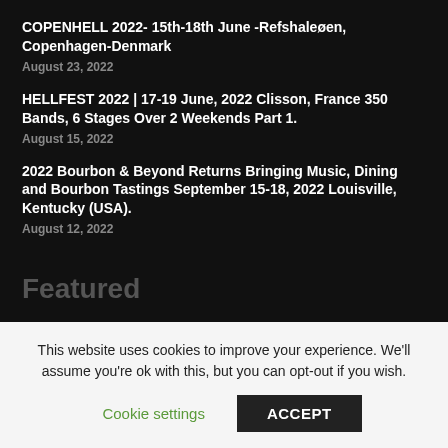COPENHELL 2022- 15th-18th June -Refshaleøen, Copenhagen-Denmark
August 23, 2022
HELLFEST 2022 | 17-19 June, 2022 Clisson, France 350 Bands, 6 Stages Over 2 Weekends Part 1.
August 15, 2022
2022 Bourbon & Beyond Returns Bringing Music, Dining and Bourbon Tastings September 15-18, 2022 Louisville, Kentucky (USA).
August 12, 2022
Featured
STEELHOUSE FESTIVAL | 29th-31st July 2022 Hafod-Y-Dafal Farm, Ebbw Vale Wales (UK).
This website uses cookies to improve your experience. We'll assume you're ok with this, but you can opt-out if you wish.
Cookie settings   ACCEPT